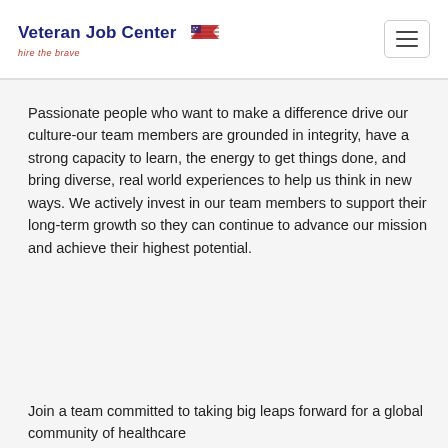Veteran Job Center — hire the brave
Passionate people who want to make a difference drive our culture-our team members are grounded in integrity, have a strong capacity to learn, the energy to get things done, and bring diverse, real world experiences to help us think in new ways. We actively invest in our team members to support their long-term growth so they can continue to advance our mission and achieve their highest potential.
Join a team committed to taking big leaps forward for a global community of healthcare